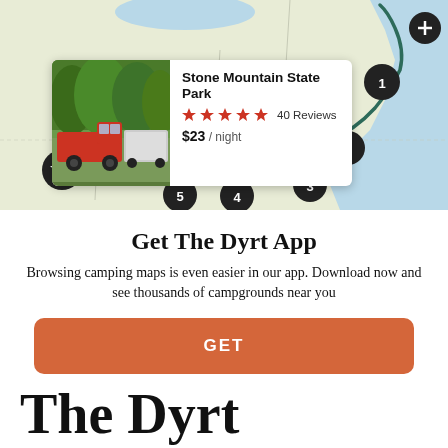[Figure (map): A camping map screenshot showing a road trip route along the US East Coast with numbered pin markers (1-5) and a star pin. The map shows states, coastline, and a highlighted green route path.]
Stone Mountain State Park
40 Reviews
$23 / night
Get The Dyrt App
Browsing camping maps is even easier in our app. Download now and see thousands of campgrounds near you
GET
The Dyrt